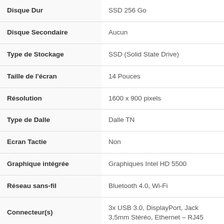| Spec | Value |
| --- | --- |
| Disque Dur | SSD 256 Go |
| Disque Secondaire | Aucun |
| Type de Stockage | SSD (Solid State Drive) |
| Taille de l'écran | 14 Pouces |
| Résolution | 1600 x 900 pixels |
| Type de Dalle | Dalle TN |
| Ecran Tactie | Non |
| Graphique intégrée | Graphiques Intel HD 5500 |
| Réseau sans-fil | Bluetooth 4.0, Wi-Fi |
| Connecteur(s) | 3x USB 3.0, DisplayPort, Jack 3,5mm Stéréo, Ethernet – RJ45 |
| Norme du clavier | QWERTY English |
| WebCam Intégré | Oui |